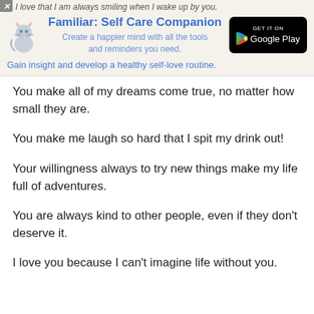I love that I am always smiling when I wake up by you.
[Figure (infographic): App advertisement banner for 'Familiar: Self Care Companion' with cat illustration and Google Play button]
You make all of my dreams come true, no matter how small they are.
You make me laugh so hard that I spit my drink out!
Your willingness always to try new things make my life full of adventures.
You are always kind to other people, even if they don't deserve it.
I love you because I can't imagine life without you.